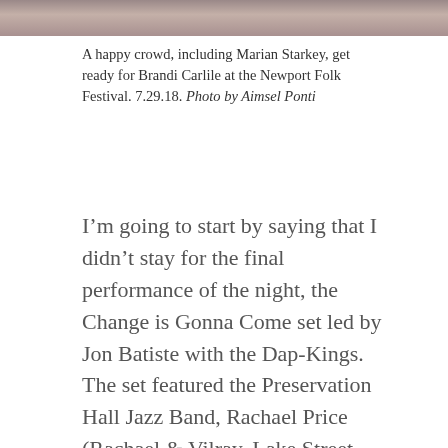[Figure (photo): Cropped photo strip showing a crowd of people at a music festival]
A happy crowd, including Marian Starkey, get ready for Brandi Carlile at the Newport Folk Festival. 7.29.18. Photo by Aimsel Ponti
I’m going to start by saying that I didn’t stay for the final performance of the night, the Change is Gonna Come set led by Jon Batiste with the Dap-Kings. The set featured the Preservation Hall Jazz Band, Rachael Price (Rachael & Vilray, Lake Street Dive), Valerie June, surprise guests Brittany Howard (Alabama Shakes), Chris Thile, Leon Bridges, Mavis Staples, Brandi